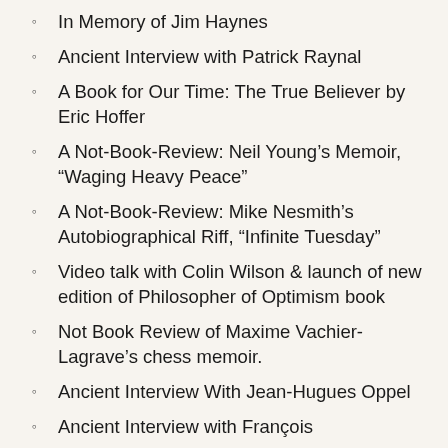In Memory of Jim Haynes
Ancient Interview with Patrick Raynal
A Book for Our Time: The True Believer by Eric Hoffer
A Not-Book-Review: Neil Young's Memoir, “Waging Heavy Peace”
A Not-Book-Review: Mike Nesmith's Autobiographical Riff, “Infinite Tuesday”
Video talk with Colin Wilson & launch of new edition of Philosopher of Optimism book
Not Book Review of Maxime Vachier-Lagrave's chess memoir.
Ancient Interview With Jean-Hugues Oppel
Ancient Interview with François...